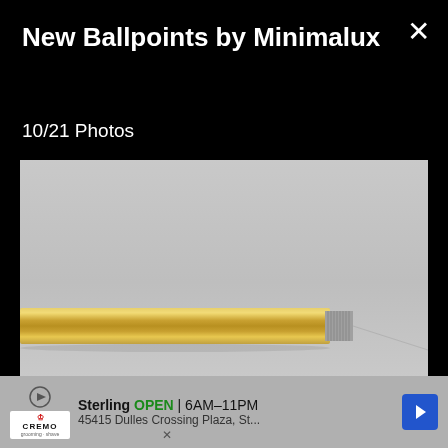New Ballpoints by Minimalux
10/21 Photos
[Figure (photo): Close-up product photo of a gold/brass cylindrical ballpoint pen barrel lying horizontally on a light grey surface, showing the threaded tip end on the right side]
Sterling  OPEN | 6AM–11PM  45415 Dulles Crossing Plaza, St...